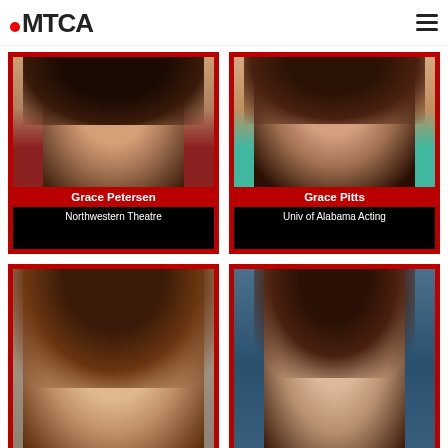MTCA
[Figure (photo): Headshot of Grace Petersen, young woman with dark curly hair wearing a red top, smiling]
Grace Petersen
Northwestern Theatre
[Figure (photo): Headshot of Grace Pitts, young woman with long brown hair wearing a teal top]
Grace Pitts
Univ of Alabama Acting
[Figure (photo): Headshot of a young woman with curly brown hair, smiling, against a blurred outdoor background]
[Figure (photo): Headshot of a young woman with straight dark brown hair against a blue brick wall background]